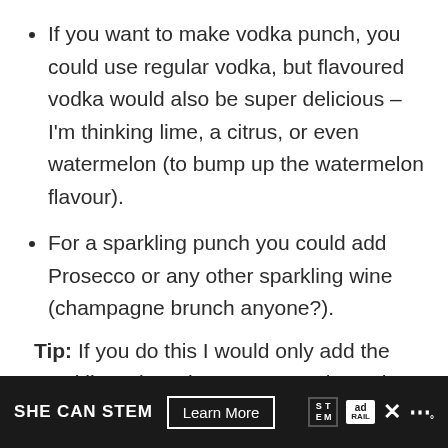If you want to make vodka punch, you could use regular vodka, but flavoured vodka would also be super delicious – I'm thinking lime, a citrus, or even watermelon (to bump up the watermelon flavour).
For a sparkling punch you could add Prosecco or any other sparkling wine (champagne brunch anyone?). Tip: If you do this I would only add the sparkling wine when you serve it, so the bubbles don't dissipate.
SHE CAN STEM  Learn More